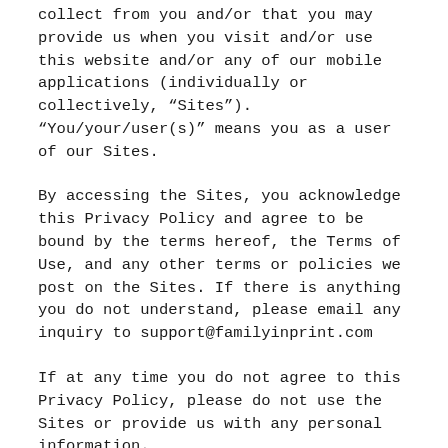collect from you and/or that you may provide us when you visit and/or use this website and/or any of our mobile applications (individually or collectively, “Sites”).  “You/your/user(s)” means you as a user of our Sites.
By accessing the Sites, you acknowledge this Privacy Policy and agree to be bound by the terms hereof, the Terms of Use, and any other terms or policies we post on the Sites. If there is anything you do not understand, please email any inquiry to support@familyinprint.com
If at any time you do not agree to this Privacy Policy, please do not use the Sites or provide us with any personal information.
We reserve the right to change or update this